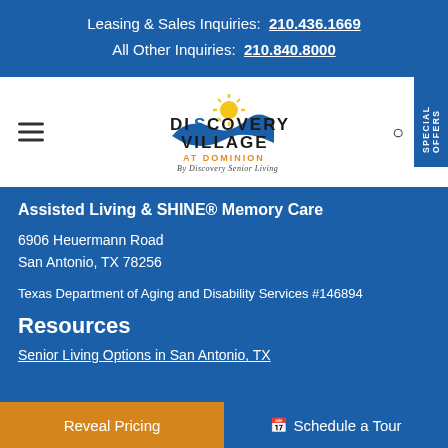Leasing & Sales Inquiries: 210.436.1669
All Other Inquiries: 210.840.8000
[Figure (logo): Discovery Village at Dominion logo with sun and waves graphic, By Discovery Senior Living tagline]
Assisted Living & SHINE® Memory Care
6906 Heuermann Road
San Antonio, TX 78256
Texas Department of Aging and Disability Services #146894
Resources
Senior Living Options in San Antonio, TX
Reveal Pricing | Schedule a Tour